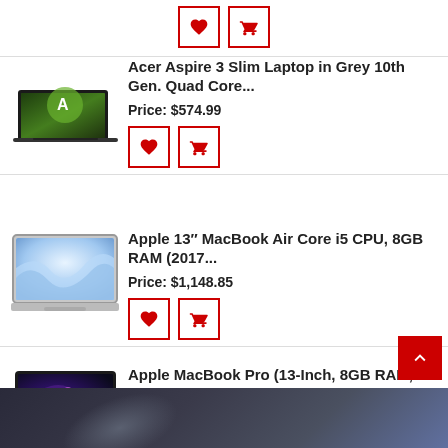[Figure (screenshot): Wishlist and cart icon buttons (red outlined)]
[Figure (photo): Acer Aspire 3 Slim Laptop in grey, angled view on white background]
Acer Aspire 3 Slim Laptop in Grey 10th Gen. Quad Core...
Price: $574.99
[Figure (screenshot): Wishlist and cart icon buttons (red outlined)]
[Figure (photo): Apple 13 inch MacBook Air, open, showing blue swirl wallpaper]
Apple 13" MacBook Air Core i5 CPU, 8GB RAM (2017...
Price: $1,148.85
[Figure (screenshot): Wishlist and cart icon buttons (red outlined)]
[Figure (photo): Apple MacBook Pro 13-inch, open, showing colorful galaxy wallpaper]
Apple MacBook Pro (13-Inch, 8GB RAM, 128GB Storage)...
Price: $862.65 – $1,883.24
[Figure (screenshot): Wishlist and cart icon buttons (red outlined)]
[Figure (screenshot): Scroll-to-top button (red square with up arrow chevron)]
[Figure (photo): Dark blurred background image at page bottom]